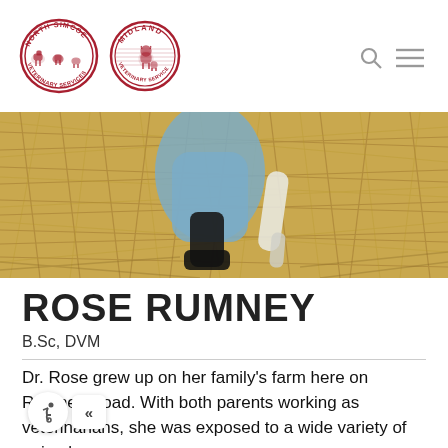[Figure (logo): North Simcoe Veterinary Services logo - oval badge with farm animals (horses, cow, small animals) in red and white, text reading NORTH SIMCOE VETERINARY SERVICES]
[Figure (logo): Midland Veterinary Service logo - circular badge with dog/cat/small animal in red and white, text reading MIDLAND VETERINARY SERVICE]
[Figure (photo): Photo of a veterinarian kneeling in hay/straw, wearing blue scrubs and black rubber boots, assisting with a newborn animal (possibly a calf or foal); the animal's legs are visible]
ROSE RUMNEY
B.Sc, DVM
Dr. Rose grew up on her family's farm here on Rumney Road. With both parents working as veterinarians, she was exposed to a wide variety of animals